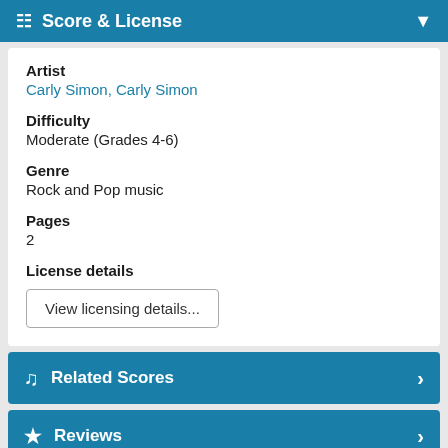Score & License
Artist
Carly Simon, Carly Simon
Difficulty
Moderate (Grades 4-6)
Genre
Rock and Pop music
Pages
2
License details
View licensing details...
Related Scores
Reviews